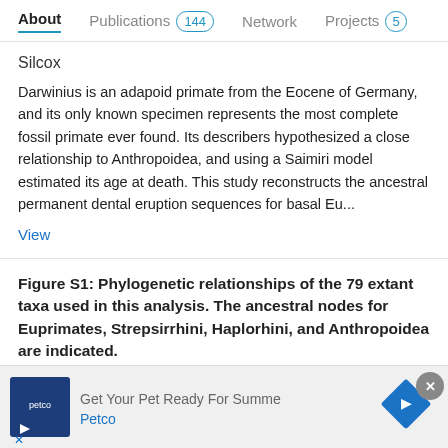About   Publications 144   Network   Projects 5
Silcox
Darwinius is an adapoid primate from the Eocene of Germany, and its only known specimen represents the most complete fossil primate ever found. Its describers hypothesized a close relationship to Anthropoidea, and using a Saimiri model estimated its age at death. This study reconstructs the ancestral permanent dental eruption sequences for basal Eu...
View
Figure S1: Phylogenetic relationships of the 79 extant taxa used in this analysis. The ancestral nodes for Euprimates, Strepsirrhini, Haplorhini, and Anthropoidea are indicated.
Data   Full-text available
Sep 2015
Sergi López-Torres · Michael A Schillaci · Mary T